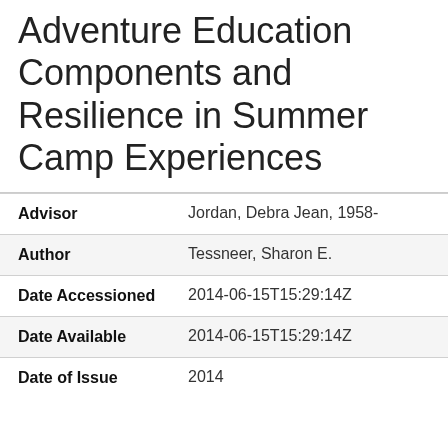Adventure Education Components and Resilience in Summer Camp Experiences
| Field | Value |
| --- | --- |
| Advisor | Jordan, Debra Jean, 1958- |
| Author | Tessneer, Sharon E. |
| Date Accessioned | 2014-06-15T15:29:14Z |
| Date Available | 2014-06-15T15:29:14Z |
| Date of Issue | 2014 |